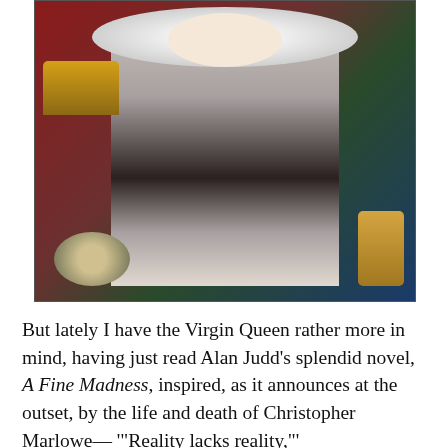[Figure (photo): A Renaissance portrait painting of Queen Elizabeth I (the 'Armada Portrait'), showing the queen seated in elaborate silver and black dress with a large lace ruff collar, pearl necklaces, and ornate sleeves. To her left is a crown and a globe. To her right is a golden mermaid statuette. Background shows painted scenes of ships at sea.]
But lately I have the Virgin Queen rather more in mind, having just read Alan Judd's splendid novel, A Fine Madness, inspired, as it announces at the outset, by the life and death of Christopher Marlowe— '"Reality lacks reality,"' he said, and something in that...